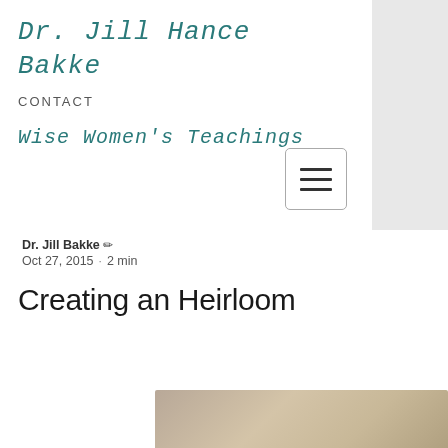Dr. Jill Hance Bakke
CONTACT
Wise Women's Teachings
[Figure (other): Hamburger menu button icon with three horizontal lines inside a rounded rectangle]
Dr. Jill Bakke ✏ Oct 27, 2015 · 2 min
Creating an Heirloom
[Figure (photo): Partial photo of an object with warm beige/tan tones, cropped at bottom of page]